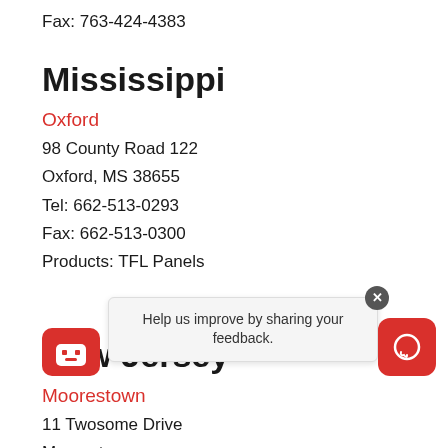Fax: 763-424-4383
Mississippi
Oxford
98 County Road 122
Oxford, MS 38655
Tel: 662-513-0293
Fax: 662-513-0300
Products: TFL Panels
New Jersey
Moorestown
11 Twosome Drive
Moorestown
Tel: 856-82-
Fax: 856-866-1812
[Figure (other): Chat feedback tooltip overlay with close button, bot icon, and red chat bubble icon]